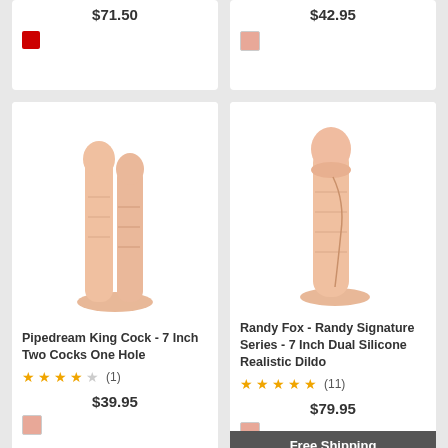$71.50
[Figure (other): Red color swatch]
$42.95
[Figure (other): Pink color swatch]
[Figure (photo): Pipedream King Cock 7 Inch Two Cocks One Hole product image]
Pipedream King Cock - 7 Inch Two Cocks One Hole
3.5 stars (1) rating
$39.95
[Figure (other): Pink color swatch]
[Figure (photo): Randy Fox Randy Signature Series 7 Inch Dual Silicone Realistic Dildo product image]
Randy Fox - Randy Signature Series - 7 Inch Dual Silicone Realistic Dildo
5 stars (11) rating
$79.95
[Figure (other): Pink color swatch]
Free Shipping